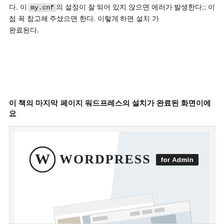다. 이 my.cnf의 설정이 잘 되어 있지 않으면 에러가 발생한다;; 이 점 꼭 참고해 주셨으면 한다. 이렇게 하면 설치 가 완료된다.
이 책의 마지막 페이지 워드프레스의 설치가 완료된 화면이에요
[Figure (screenshot): WordPress for Admin book cover or promotional image showing the WordPress logo with 'for Admin' badge and a mockup of a fashion e-commerce website.]